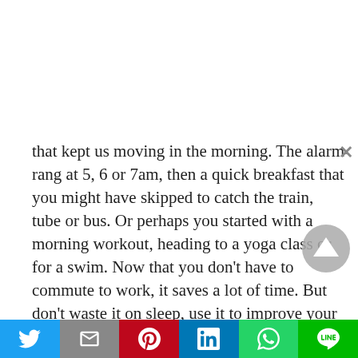that kept us moving in the morning. The alarm rang at 5, 6 or 7am, then a quick breakfast that you might have skipped to catch the train, tube or bus. Or perhaps you started with a morning workout, heading to a yoga class or for a swim. Now that you don't have to commute to work, it saves a lot of time. But don't waste it on sleep, use it to improve your well-being.

Wake up at your usual time and simulate your commute to the station by having a nice walk or
Twitter | Gmail | Pinterest | LinkedIn | WhatsApp | Line